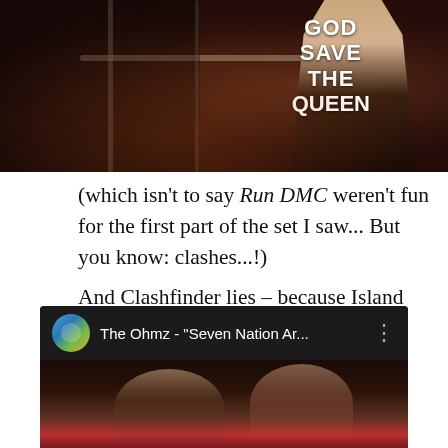[Figure (photo): Partial photo of a performer on stage wearing a 'GOD SAVE THE QUEEN' shirt, with stage microphone and railing visible, dark reddish background]
(which isn't to say Run DMC weren't fun for the first part of the set I saw... But you know: clashes...!)
And Clashfinder lies – because Island reggae band The Ohmz (homepage, Twitter: @theohmz) had their face off on Friday night, not Saturday:
[Figure (screenshot): YouTube video thumbnail showing The Ohmz - 'Seven Nation Ar...' with avatar icon and three-dot menu, with video preview showing performers]